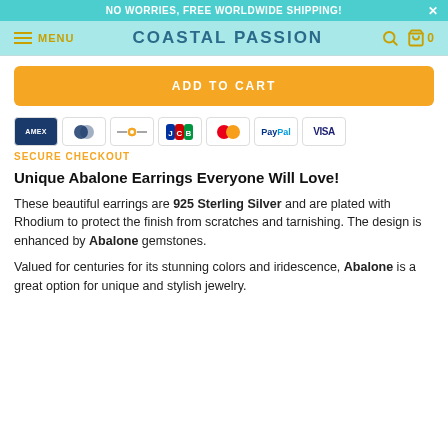NO WORRIES, FREE WORLDWIDE SHIPPING!
MENU  COASTAL PASSION
ADD TO CART
[Figure (other): Payment method icons: Amex, Diners Club, generic card, JCB, Mastercard, PayPal, Visa]
SECURE CHECKOUT
Unique Abalone Earrings Everyone Will Love!
These beautiful earrings are 925 Sterling Silver and are plated with Rhodium to protect the finish from scratches and tarnishing. The design is enhanced by Abalone gemstones.
Valued for centuries for its stunning colors and iridescence, Abalone is a great option for unique and stylish jewelry.